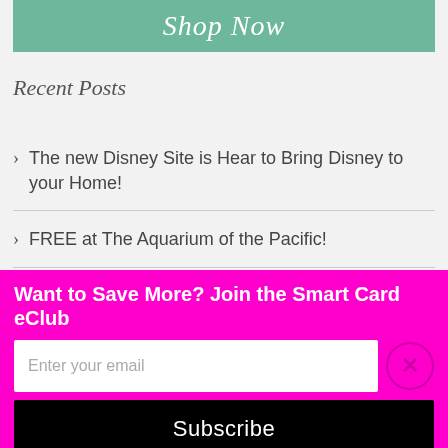[Figure (other): Green 'Shop Now' button with italic white script text]
Recent Posts
The new Disney Site is Hear to Bring Disney to your Home!
FREE at The Aquarium of the Pacific!
It's Brick-or-Treat Time at LegoLand!
Want to Save More? Join the Smart Card eClub
Enter your email
Subscribe